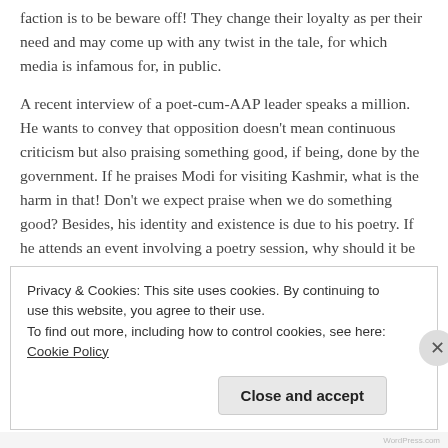faction is to be beware off! They change their loyalty as per their need and may come up with any twist in the tale, for which media is infamous for, in public.
A recent interview of a poet-cum-AAP leader speaks a million. He wants to convey that opposition doesn't mean continuous criticism but also praising something good, if being, done by the government. If he praises Modi for visiting Kashmir, what is the harm in that! Don't we expect praise when we do something good? Besides, his identity and existence is due to his poetry. If he attends an event involving a poetry session, why should it be politicized?
Privacy & Cookies: This site uses cookies. By continuing to use this website, you agree to their use.
To find out more, including how to control cookies, see here: Cookie Policy
Close and accept